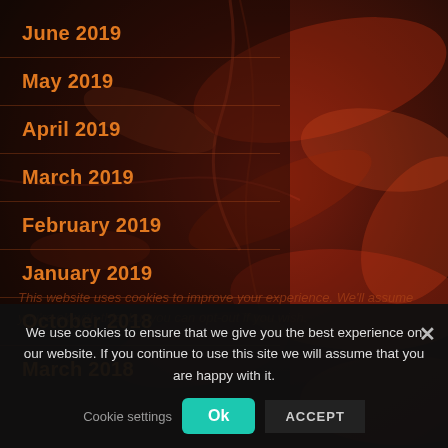[Figure (photo): Dark reddish-brown textured background resembling microscopic or aerial view of organic/geological material with red highlighted patterns on dark background]
June 2019
May 2019
April 2019
March 2019
February 2019
January 2019
October 2018
March 2018
This website uses cookies to improve your experience. We'll assume you're ok with this, but you can opt-out if you wish.
We use cookies to ensure that we give you the best experience on our website. If you continue to use this site we will assume that you are happy with it.